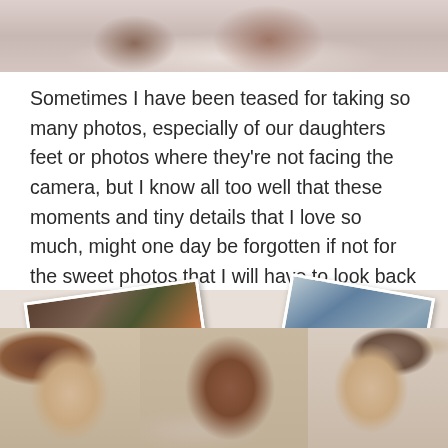[Figure (photo): Top portion of a photo showing two women with long dark hair lying down, wearing light-colored clothing, cropped at the bottom edge]
Sometimes I have been teased for taking so many photos, especially of our daughters feet or photos where they're not facing the camera, but I know all too well that these moments and tiny details that I love so much, might one day be forgotten if not for the sweet photos that I will have to look back on and remind me.
[Figure (photo): A collage of family photos: scattered polaroid-style prints showing outdoor family scenes and a close-up photo of a mother with dark hair smiling at two young daughters (a toddler with hair bun and a girl with hair clip in ponytail)]